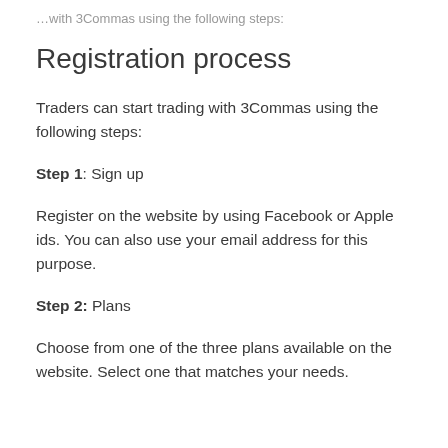…with 3Commas using the following steps:
Registration process
Traders can start trading with 3Commas using the following steps:
Step 1: Sign up
Register on the website by using Facebook or Apple ids. You can also use your email address for this purpose.
Step 2: Plans
Choose from one of the three plans available on the website. Select one that matches your needs.